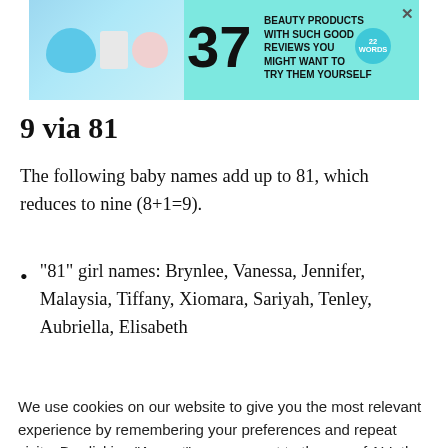[Figure (other): Advertisement banner: teal background with beauty product images, large '37', text 'BEAUTY PRODUCTS WITH SUCH GOOD REVIEWS YOU MIGHT WANT TO TRY THEM YOURSELF', 22 Words logo, X close button]
9 via 81
The following baby names add up to 81, which reduces to nine (8+1=9).
“81” girl names: Brynlee, Vanessa, Jennifer, Malaysia, Tiffany, Xiomara, Sariyah, Tenley, Aubriella, Elisabeth
We use cookies on our website to give you the most relevant experience by remembering your preferences and repeat visits. By clicking “Accept”, you consent to the use of ALL the cookies.
[Figure (other): Advertisement banner: purple background with purple headphones, 22 Words logo, text '37 GENIUS AMAZON PRODUCTS THAT CAN BE USED BY ANYONE', X close button]